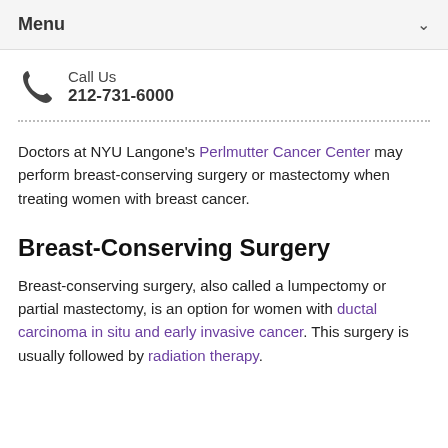Menu
Call Us
212-731-6000
Doctors at NYU Langone's Perlmutter Cancer Center may perform breast-conserving surgery or mastectomy when treating women with breast cancer.
Breast-Conserving Surgery
Breast-conserving surgery, also called a lumpectomy or partial mastectomy, is an option for women with ductal carcinoma in situ and early invasive cancer. This surgery is usually followed by radiation therapy.